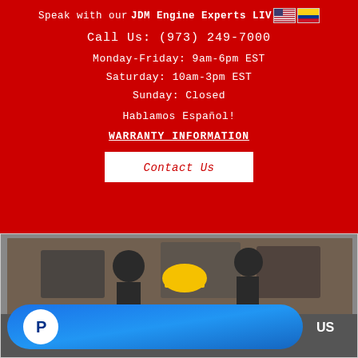Speak with our JDM Engine Experts LIVE
Call Us: (973) 249-7000
Monday-Friday: 9am-6pm EST
Saturday: 10am-3pm EST
Sunday: Closed
Hablamos Español!
WARRANTY INFORMATION
Contact Us
[Figure (photo): Workshop/garage scene with workers in hard hats, with a PayPal banner overlay showing 'US' text]